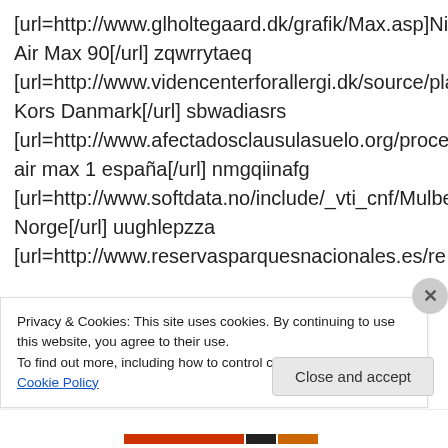[url=http://www.glholtegaard.dk/grafik/Max.asp]Nike Air Max 90[/url] zqwrrytaeq [url=http://www.videncenterforallergi.dk/source/players/MichaelKors.asp]Michael Kors Danmark[/url] sbwadiasrs [url=http://www.afectadosclausulasuelo.org/process/es/max.html]nike air max 1 españa[/url] nmgqiinafg [url=http://www.softdata.no/include/_vti_cnf/Mulberry.html]Mulberry Norge[/url] uughlepzza [url=http://www.reservasparquesnacionales.es/re
Privacy & Cookies: This site uses cookies. By continuing to use this website, you agree to their use.
To find out more, including how to control cookies, see here: Cookie Policy